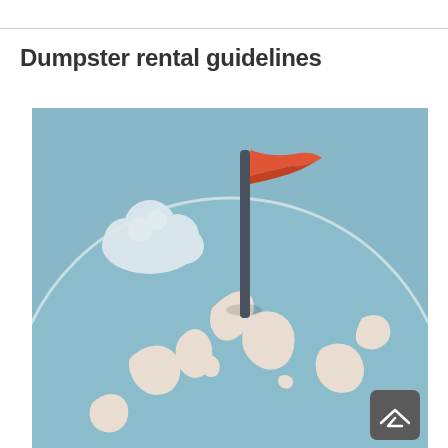Dumpster rental guidelines
[Figure (illustration): Illustration of a globe showing Asia, Africa, and surrounding continents, with a red flag planted on top of the globe and clouds in the background sky area. A scroll-to-top arrow button appears in the bottom right corner.]